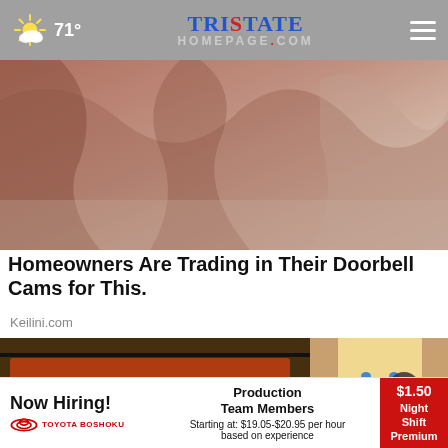71° | TristateHomepage.com
[Figure (photo): Close-up photo of crumpled fabric or skin texture in pinkish-brown and beige tones]
Homeowners Are Trading in Their Doorbell Cams for This.
Keilini.com
[Figure (photo): Grocery store produce and deli section with a blonde woman visible on the right side, and a close-up button overlay]
Now Hiring! TOYOTA BOSHOKU | Production Team Members Starting at: $19.05-$20.95 per hour based on experience | $1.50 Night Shift Premium